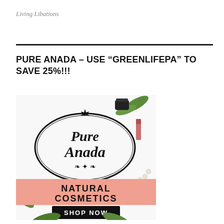Living Libations
PURE ANADA – USE “GREENLIFEPA” TO SAVE 25%!!!
[Figure (logo): Pure Anada Natural Cosmetics advertisement image with logo, cosmetic products on white background, salmon-colored band reading NATURAL COSMETICS, and black Shop Now button]